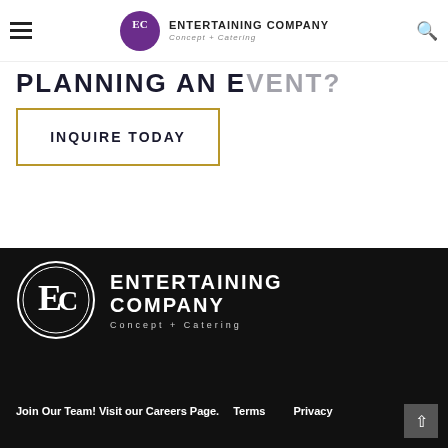Entertaining Company — Concept + Catering — Navigation bar
PLANNING AN EVENT?
INQUIRE TODAY
[Figure (logo): Entertaining Company logo — EC monogram in a double circle, white on black, with company name ENTERTAINING COMPANY and tagline Concept + Catering in white on black background]
Join Our Team! Visit our Careers Page.    Terms    Privacy